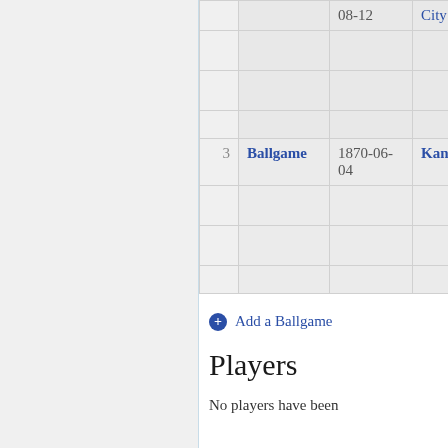|  | Name | Date | Location |
| --- | --- | --- | --- |
|  |  | 08-12 | City |
| 3 | Ballgame | 1870-06-04 | Kansas City |
+ Add a Ballgame
Players
No players have been associated with this Club...